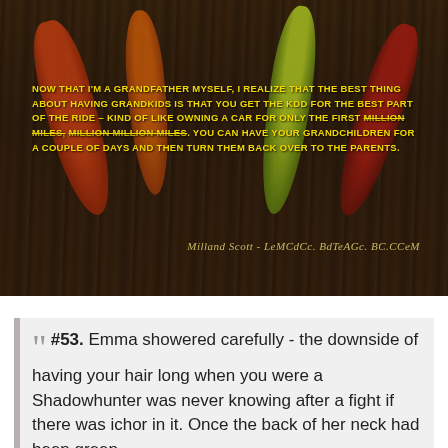[Figure (photo): Dark wooden background with colorful autumn leaves (red, orange, green, dark red) arranged decoratively. Yellow bold uppercase text overlaid with a quote about grandfathers and grandchildren. Cursive attribution text at the bottom right of the image.]
#53. Emma showered carefully - the downside of having your hair long when you were a Shadowhunter was never knowing after a fight if there was ichor in it. Once the back of her neck had been green...